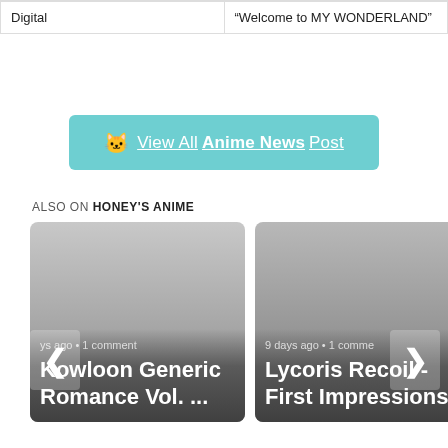| Digital | “Welcome to MY WONDERLAND” |
| --- | --- |
[Figure (other): Teal/cyan button with cat icon and text 'View All Anime News Post']
ALSO ON HONEY'S ANIME
[Figure (other): Card showing 'ys ago • 1 comment' and title 'Kowloon Generic Romance Vol. ...' with left navigation arrow]
[Figure (other): Card showing '9 days ago • 1 comme...' and title 'Lycoris Recoil - First Impressions' with right navigation arrow]